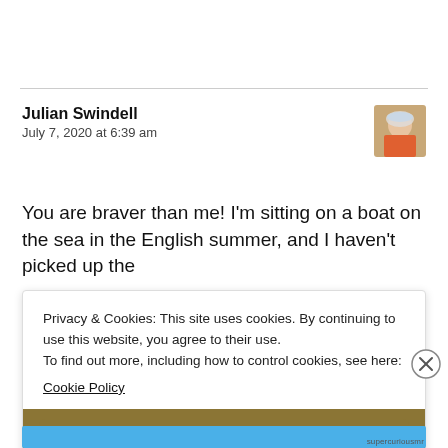Julian Swindell
July 7, 2020 at 6:39 am
You are braver than me! I'm sitting on a boat on the sea in the English summer, and I haven't picked up the
Privacy & Cookies: This site uses cookies. By continuing to use this website, you agree to their use.
To find out more, including how to control cookies, see here:
Cookie Policy
Close and accept